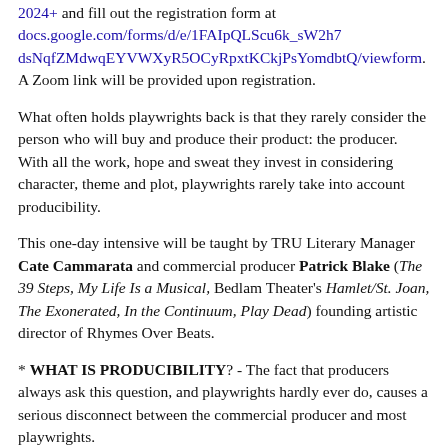2024+ and fill out the registration form at docs.google.com/forms/d/e/1FAIpQLScu6k_sW2h7dsNqfZMdwqEYVWXyR5OCyRpxtKCkjPsYomdbtQ/viewform. A Zoom link will be provided upon registration.
What often holds playwrights back is that they rarely consider the person who will buy and produce their product: the producer.  With all the work, hope and sweat they invest in considering character, theme and plot, playwrights rarely take into account producibility.
This one-day intensive will be taught by TRU Literary Manager Cate Cammarata and commercial producer Patrick Blake (The 39 Steps, My Life Is a Musical, Bedlam Theater's Hamlet/St. Joan, The Exonerated, In the Continuum, Play Dead) founding artistic director of Rhymes Over Beats.
* WHAT IS PRODUCIBILITY? - The fact that producers always ask this question, and playwrights hardly ever do, causes a serious disconnect between the commercial producer and most playwrights.
* WRITING TO A MARKET - We will ask each playwright questions he or she has probably never considered before: What is your market? Who is going to buy tickets? Who is this play written